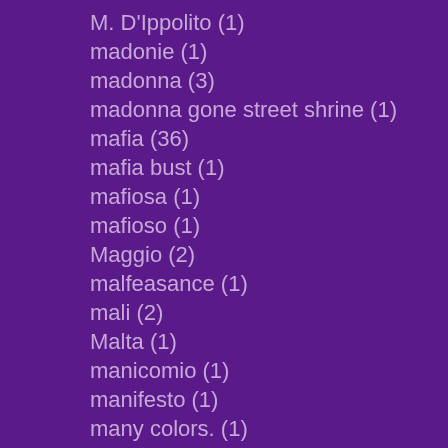M. D'Ippolito (1)
madonie (1)
madonna (3)
madonna gone street shrine (1)
mafia (36)
mafia bust (1)
mafiosa (1)
mafioso (1)
Maggio (2)
malfeasance (1)
mali (2)
Malta (1)
manicomio (1)
manifesto (1)
many colors. (1)
map (2)
maple (1)
maqueda (1)
marcello lampone (6)